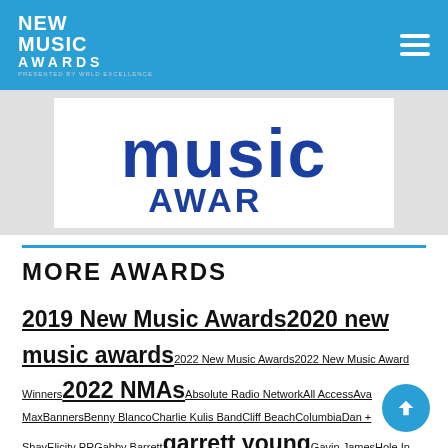New Music Awards
[Figure (logo): New Music Awards logo banner showing the word 'music' in large blue letters and partial 'AWARDS' text below]
MORE AWARDS
2019 New Music Awards2020 new music awards2022 New Music Awards2022 New Music Award Winners2022 NMAsAbsolute Radio NetworkAll AccessAva MaxBannersBenny BlancoCharlie Kulis BandCliff BeachColumbiaDan + ShayElicity PRGabby Barrettgarrett youngGavin JamesHole In The BottleJerry Duncan PromotionsJoe TaylorJohn Michael FerrariKane BrownKathy LynnKMEYLewis Capaldilynn RutledgeMaren